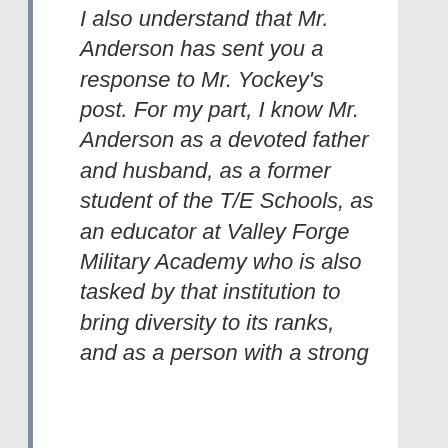I also understand that Mr. Anderson has sent you a response to Mr. Yockey's post. For my part, I know Mr. Anderson as a devoted father and husband, as a former student of the T/E Schools, as an educator at Valley Forge Military Academy who is also tasked by that institution to bring diversity to its ranks, and as a person with a strong